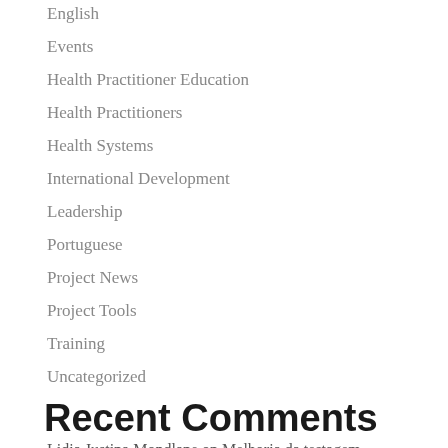English
Events
Health Practitioner Education
Health Practitioners
Health Systems
International Development
Leadership
Portuguese
Project News
Project Tools
Training
Uncategorized
Recent Comments
Lidia Justina Mondlane on Melhoria da testagem